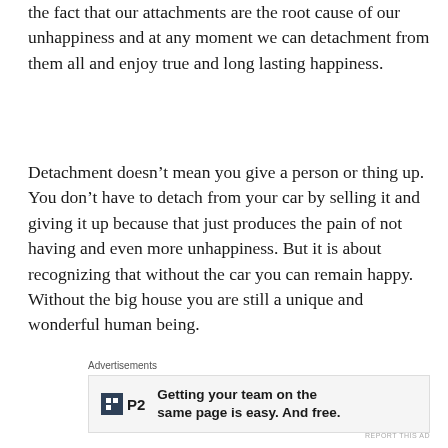the fact that our attachments are the root cause of our unhappiness and at any moment we can detachment from them all and enjoy true and long lasting happiness.
Detachment doesn’t mean you give a person or thing up. You don’t have to detach from your car by selling it and giving it up because that just produces the pain of not having and even more unhappiness. But it is about recognizing that without the car you can remain happy. Without the big house you are still a unique and wonderful human being.
Advertisements
[Figure (other): Advertisement for P2 with logo and text: Getting your team on the same page is easy. And free.]